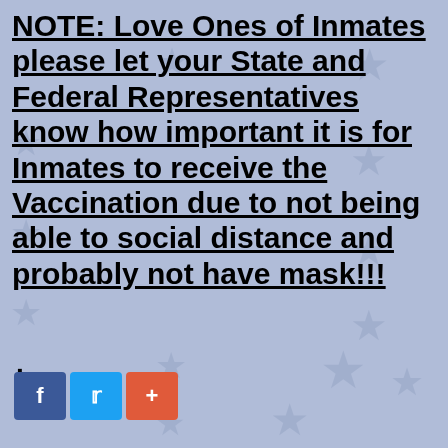NOTE: Love Ones of Inmates please let your State and Federal Representatives know how important it is for Inmates to receive the Vaccination due to not being able to social distance and probably not have mask!!!
.
[Figure (other): Social media share buttons: Facebook (f), Twitter (bird icon), and a red plus/share button]